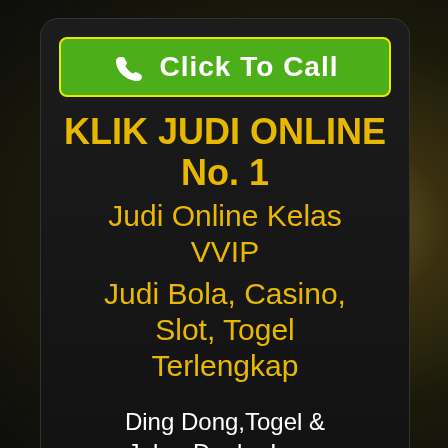[Figure (illustration): Green 'Click To Call' button with phone icon, yellow border, on dark card background]
KLIK JUDI ONLINE No. 1
Judi Online Kelas VVIP
Judi Bola, Casino, Slot, Togel Terlengkap
Ding Dong,Togel & Joker Dealer Lucu Agen Bola Senior Judi